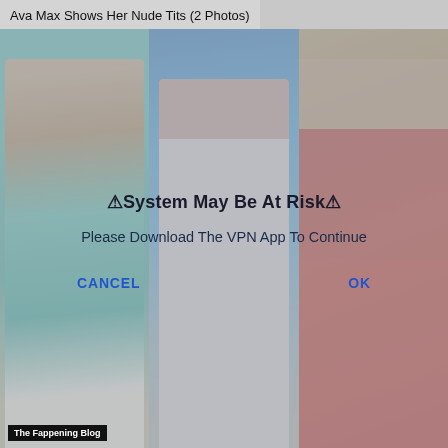Ava Max Shows Her Nude Tits (2 Photos)
[Figure (photo): Three celebrity photos side by side. Left: woman in teal patterned bikini with white sunglasses. Center: woman in silver/white sheer gown against blue background. Right: woman in red bikini against rocky background. A semi-transparent overlay dialog covers the center of the image with the text: '⚠System May Be At Risk⚠ / Please Download The VPN App To Continue' with CANCEL and OK buttons.]
⚠System May Be At Risk⚠
Please Download The VPN App To Continue
CANCEL
OK
The Fappening Blog